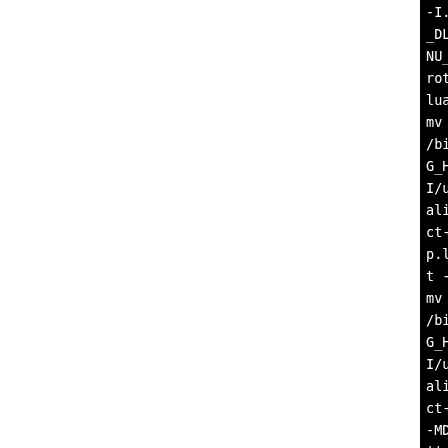[Figure (screenshot): Terminal/console output showing build commands with compiler flags, libtool invocations, and compilation steps for Lua library on a black background with white monospace text. Left portion of page is white (blank). The visible text is cut off on the right side.]